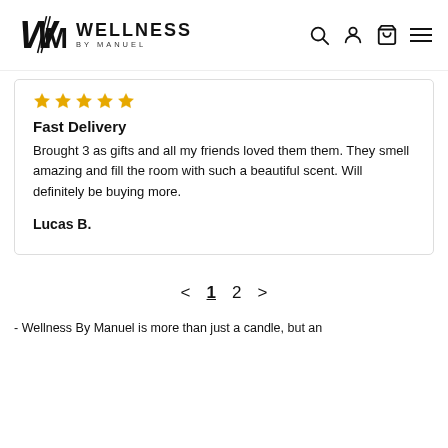Wellness By Manuel — navigation header with logo, search, account, cart, and menu icons
[Figure (other): Five gold star rating icons]
Fast Delivery
Brought 3 as gifts and all my friends loved them them. They smell amazing and fill the room with such a beautiful scent. Will definitely be buying more.
Lucas B.
< 1 2 >
- Wellness By Manuel is more than just a candle, but an